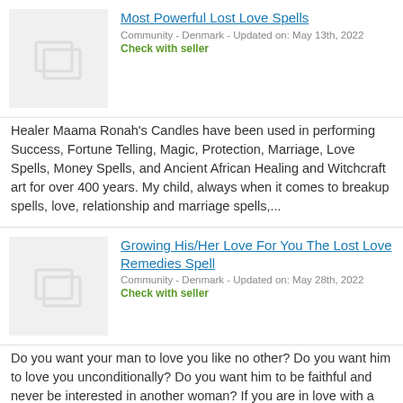Most Powerful Lost Love Spells
Community - Denmark - Updated on: May 13th, 2022
Check with seller
Healer Maama Ronah's Candles have been used in performing Success, Fortune Telling, Magic, Protection, Marriage, Love Spells, Money Spells, and Ancient African Healing and Witchcraft art for over 400 years. My child, always when it comes to breakup spells, love, relationship and marriage spells,...
Growing His/Her Love For You The Lost Love Remedies Spell
Community - Denmark - Updated on: May 28th, 2022
Check with seller
Do you want your man to love you like no other? Do you want him to love you unconditionally? Do you want him to be faithful and never be interested in another woman? If you are in love with a specific man, and you...